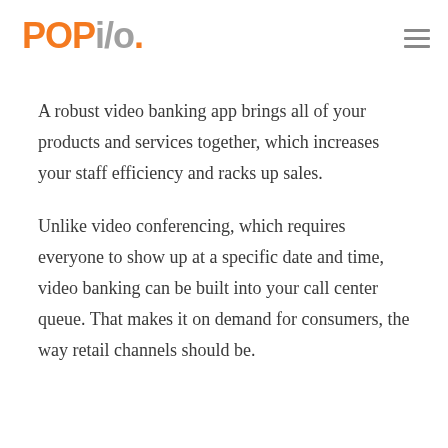POPi/o
A robust video banking app brings all of your products and services together, which increases your staff efficiency and racks up sales.
Unlike video conferencing, which requires everyone to show up at a specific date and time, video banking can be built into your call center queue. That makes it on demand for consumers, the way retail channels should be.